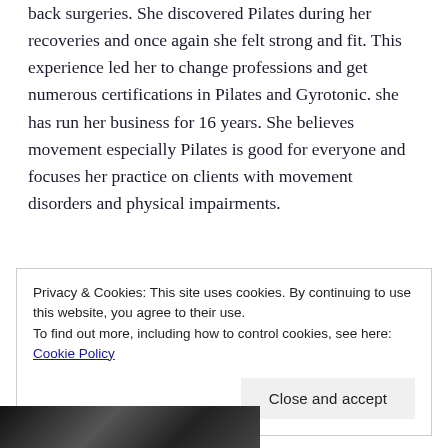back surgeries. She discovered Pilates during her recoveries and once again she felt strong and fit. This experience led her to change professions and get numerous certifications in Pilates and Gyrotonic. she has run her business for 16 years. She believes movement especially Pilates is good for everyone and focuses her practice on clients with movement disorders and physical impairments.
Privacy & Cookies: This site uses cookies. By continuing to use this website, you agree to their use.
To find out more, including how to control cookies, see here: Cookie Policy
[Figure (photo): Bottom portion of a black and white photo, partially visible at the bottom of the page]